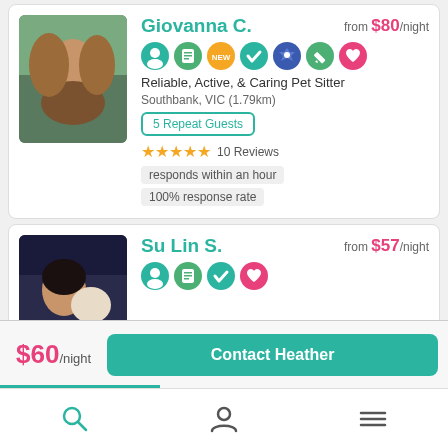[Figure (photo): Profile photo of Giovanna C., young woman with long brown hair sitting outdoors]
Giovanna C.
from $80/night
[Figure (infographic): Row of badge icons: profile, document, NEW, checkmark, police/verified, edit, no-cat]
Reliable, Active, & Caring Pet Sitter
Southbank, VIC (1.79km)
5 Repeat Guests
10 Reviews
responds within an hour
100% response rate
[Figure (photo): Profile photo of Su Lin S., young woman with dark hair holding a fluffy dog]
Su Lin S.
from $57/night
[Figure (infographic): Row of badge icons: profile, document, checkmark, no-cat]
$60/night
Contact Heather